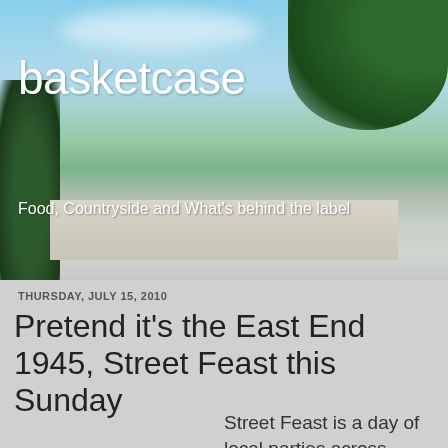[Figure (photo): Blog header banner showing a road scene with blue sky, clouds, and green trees on the sides]
basketcase
Food, Countryside and What's behind the label
THURSDAY, JULY 15, 2010
Pretend it's the East End 1945, Street Feast this Sunday
Street Feast is a day of local parties across Ireland this Sunday 18th of July, hosted by you and your neighbours. It's free; just bring along some food and a positive attitude. They can be anywhere — on your